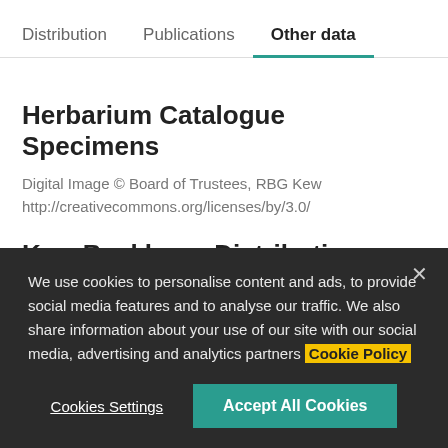Distribution | Publications | Other data
Herbarium Catalogue Specimens
Digital Image © Board of Trustees, RBG Kew
http://creativecommons.org/licenses/by/3.0/
Kew Backbone Distributions
The International Plant Names Index and World Checklist of Vascular Plants 2022. Published on the Internet at
We use cookies to personalise content and ads, to provide social media features and to analyse our traffic. We also share information about your use of our site with our social media, advertising and analytics partners Cookie Policy
Cookies Settings | Accept All Cookies